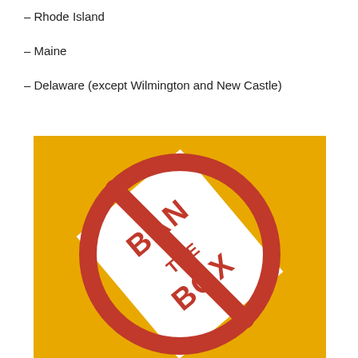– Rhode Island
– Maine
– Delaware (except Wilmington and New Castle)
[Figure (logo): Ban the Box logo: red circle-slash symbol over a white rectangle (representing a checkbox/form box) on a yellow/gold background, with the text 'BAN THE BOX' written diagonally in bold red letters.]